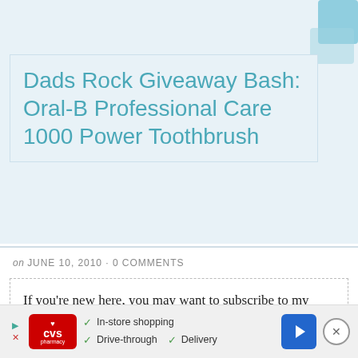Dads Rock Giveaway Bash: Oral-B Professional Care 1000 Power Toothbrush
on JUNE 10, 2010 · 0 COMMENTS
If you're new here, you may want to subscribe to my RSS feed. Thanks for visiting!
[Figure (photo): Oral-B Professional Care 1000 Power Toothbrush product photo showing toothbrush head and handle in white and blue]
In-store shopping · Drive-through · Delivery (CVS Pharmacy advertisement)